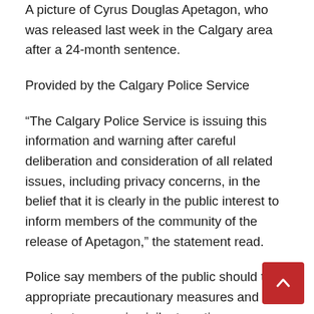A picture of Cyrus Douglas Apetagon, who was released last week in the Calgary area after a 24-month sentence.
Provided by the Calgary Police Service
“The Calgary Police Service is issuing this information and warning after careful deliberation and consideration of all related issues, including privacy concerns, in the belief that it is clearly in the public interest to inform members of the community of the release of Apetagon,” the statement read.
Police say members of the public should take appropriate precautionary measures and must not engage in vigilante action.
© 2022 Global News, a division of Corus